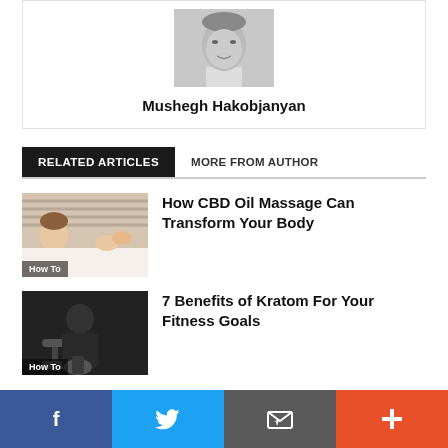[Figure (photo): Black and white headshot photo of Mushegh Hakobjanyan]
Mushegh Hakobjanyan
RELATED ARTICLES   MORE FROM AUTHOR
[Figure (photo): Person receiving a massage, lying down. Label: How To]
How CBD Oil Massage Can Transform Your Body
[Figure (photo): Person lifting weights in gym. Label: How To]
7 Benefits of Kratom For Your Fitness Goals
[Figure (infographic): Social sharing bar with Facebook, Twitter, Email, and Plus buttons]